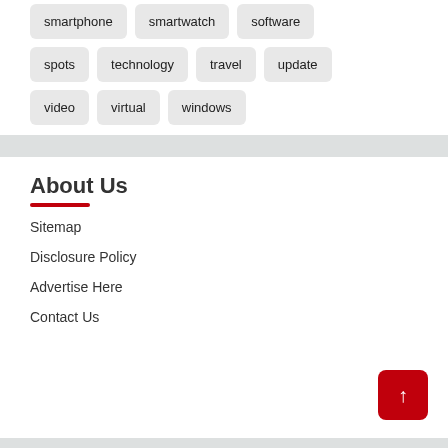smartphone
smartwatch
software
spots
technology
travel
update
video
virtual
windows
About Us
Sitemap
Disclosure Policy
Advertise Here
Contact Us